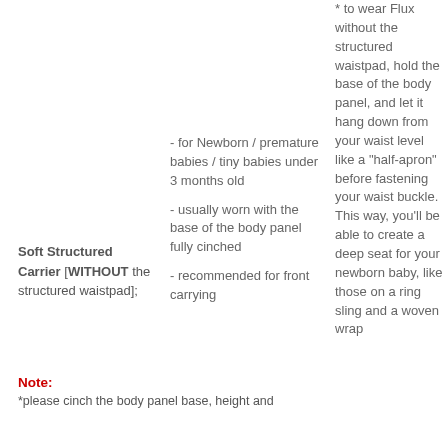* to wear Flux without the structured waistpad, hold the base of the body panel, and let it hang down from your waist level like a "half-apron" before fastening your waist buckle. This way, you'll be able to create a deep seat for your newborn baby, like those on a ring sling and a woven wrap
Soft Structured Carrier [WITHOUT the structured waistpad];
- for Newborn / premature babies / tiny babies under 3 months old
- usually worn with the base of the body panel fully cinched
- recommended for front carrying
Note:
*please cinch the body panel base, height and